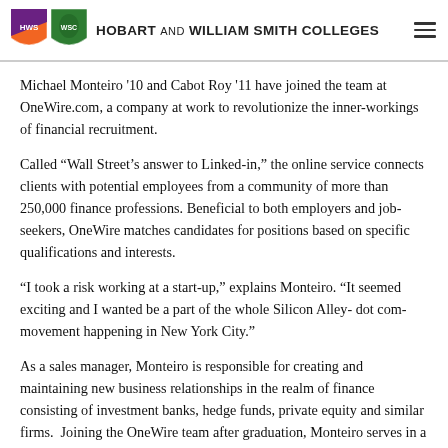HOBART AND WILLIAM SMITH COLLEGES
Michael Monteiro '10 and Cabot Roy '11 have joined the team at OneWire.com, a company at work to revolutionize the inner-workings of financial recruitment.
Called “Wall Street’s answer to Linked-in,” the online service connects clients with potential employees from a community of more than 250,000 finance professions. Beneficial to both employers and job-seekers, OneWire matches candidates for positions based on specific qualifications and interests.
“I took a risk working at a start-up,” explains Monteiro. “It seemed exciting and I wanted be a part of the whole Silicon Alley- dot com- movement happening in New York City.”
As a sales manager, Monteiro is responsible for creating and maintaining new business relationships in the realm of finance consisting of investment banks, hedge funds, private equity and similar firms.  Joining the OneWire team after graduation, Monteiro serves in a sales management